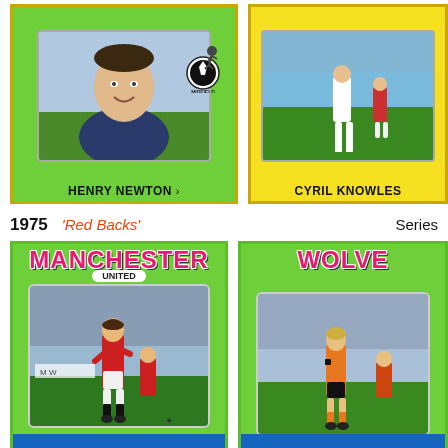[Figure (photo): Football trading card: Henry Newton, Midfield. Green bordered card with player headshot and midfield badge.]
[Figure (photo): Football trading card: Cyril Knowles. Yellow bordered card with action photo of player on pitch.]
1975   'Red Backs'   Series
[Figure (photo): 1975 Red Backs football trading card: Manchester United. Green card with pink team name, action photo of player in red kit.]
[Figure (photo): 1975 Red Backs football trading card: Wolverhampton Wanderers (Wolves). Green card with pink team name (partially visible), action photo of player in orange kit.]